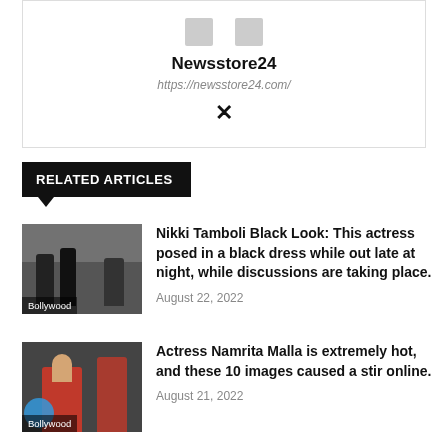[Figure (other): Author card with two social icons, bold name Newsstore24, URL https://newsstore24.com/, and Xing logo icon below]
RELATED ARTICLES
[Figure (photo): People dressed in black at a nighttime event, labeled Bollywood]
Nikki Tamboli Black Look: This actress posed in a black dress while out late at night, while discussions are taking place.
August 22, 2022
[Figure (photo): Dancer in red costume performing, labeled Bollywood]
Actress Namrita Malla is extremely hot, and these 10 images caused a stir online.
August 21, 2022